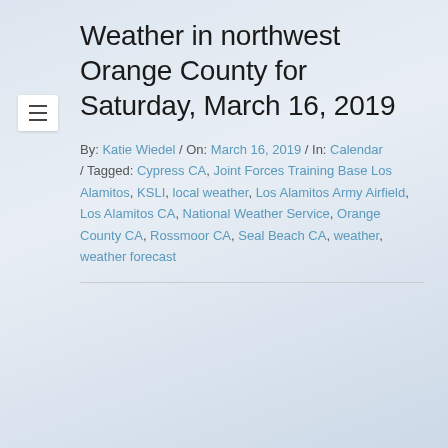Weather in northwest Orange County for Saturday, March 16, 2019
By: Katie Wiedel / On: March 16, 2019 / In: Calendar / Tagged: Cypress CA, Joint Forces Training Base Los Alamitos, KSLI, local weather, Los Alamitos Army Airfield, Los Alamitos CA, National Weather Service, Orange County CA, Rossmoor CA, Seal Beach CA, weather, weather forecast